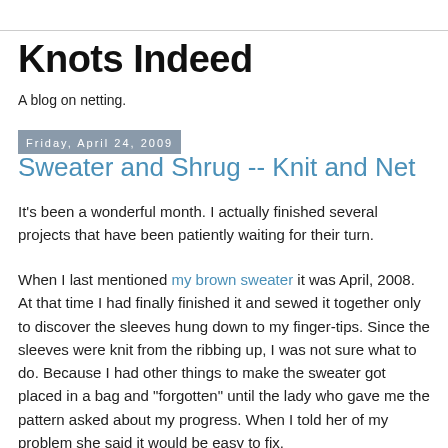Knots Indeed
A blog on netting.
Friday, April 24, 2009
Sweater and Shrug -- Knit and Net
It's been a wonderful month. I actually finished several projects that have been patiently waiting for their turn.
When I last mentioned my brown sweater it was April, 2008. At that time I had finally finished it and sewed it together only to discover the sleeves hung down to my finger-tips. Since the sleeves were knit from the ribbing up, I was not sure what to do. Because I had other things to make the sweater got placed in a bag and "forgotten" until the lady who gave me the pattern asked about my progress. When I told her of my problem she said it would be easy to fix.